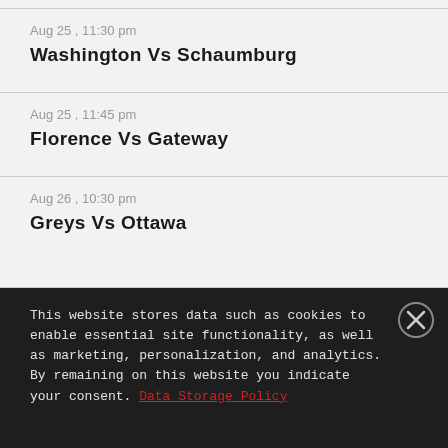Aug 25 , 11:30 pm
Washington Vs Schaumburg
Aug 25 , 11:45 pm
Florence Vs Gateway
Aug 26 , 10:30 pm
Greys Vs Ottawa
This website stores data such as cookies to enable essential site functionality, as well as marketing, personalization, and analytics. By remaining on this website you indicate your consent. Data Storage Policy